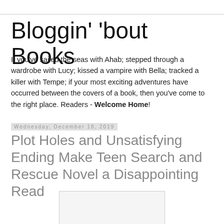Bloggin' 'bout Books
If you've sailed the seas with Ahab; stepped through a wardrobe with Lucy; kissed a vampire with Bella; tracked a killer with Tempe; if your most exciting adventures have occurred between the covers of a book, then you've come to the right place. Readers - Welcome Home!
Wednesday, December 18, 2019
Plot Holes and Unsatisfying Ending Make Teen Search and Rescue Novel a Disappointing Read
[Figure (photo): Book cover or related image placeholder, light gray rectangle]